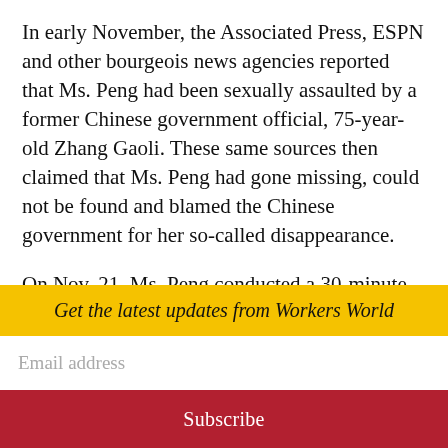In early November, the Associated Press, ESPN and other bourgeois news agencies reported that Ms. Peng had been sexually assaulted by a former Chinese government official, 75-year-old Zhang Gaoli. These same sources then claimed that Ms. Peng had gone missing, could not be found and blamed the Chinese government for her so-called disappearance.
On Nov. 21, Ms. Peng conducted a 30-minute video call with International Olympic
Get the latest updates from Workers World
Email address
Subscribe